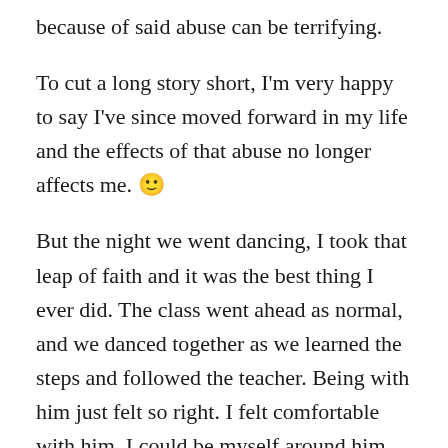because of said abuse can be terrifying.
To cut a long story short, I'm very happy to say I've since moved forward in my life and the effects of that abuse no longer affects me. 🙂
But the night we went dancing, I took that leap of faith and it was the best thing I ever did. The class went ahead as normal, and we danced together as we learned the steps and followed the teacher. Being with him just felt so right. I felt comfortable with him, I could be myself around him and most importantly, I knew I was safe with him.
We danced, we sat, we had drinks (soft drinks for me, I